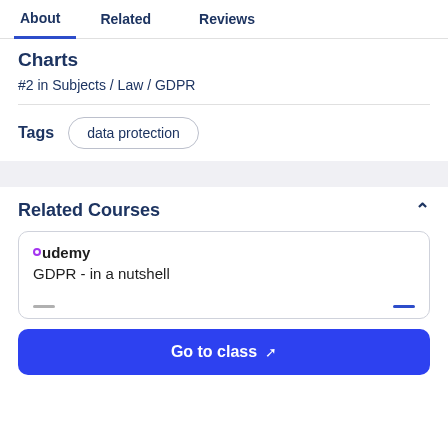About | Related | Reviews
Charts
#2 in Subjects / Law / GDPR
Tags  data protection
Related Courses
Udemy
GDPR - in a nutshell
Go to class